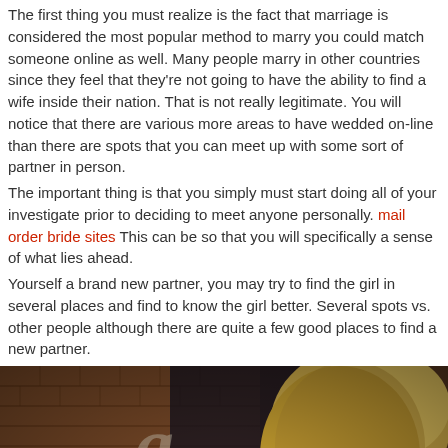The first thing you must realize is the fact that marriage is considered the most popular method to marry you could match someone online as well. Many people marry in other countries since they feel that they're not going to have the ability to find a wife inside their nation. That is not really legitimate. You will notice that there are various more areas to have wedded on-line than there are spots that you can meet up with some sort of partner in person.
The important thing is that you simply must start doing all of your investigate prior to deciding to meet anyone personally. mail order bride sites This can be so that you will specifically a sense of what lies ahead.
Yourself a brand new partner, you may try to find the girl in several places and find to know the girl better. Several spots vs. other people although there are quite a few good places to find a new partner.
[Figure (photo): Photo of a blonde woman looking sideways with her hands near her mouth, set against a blurred bokeh background with brick wall and a letter 'a' visible]